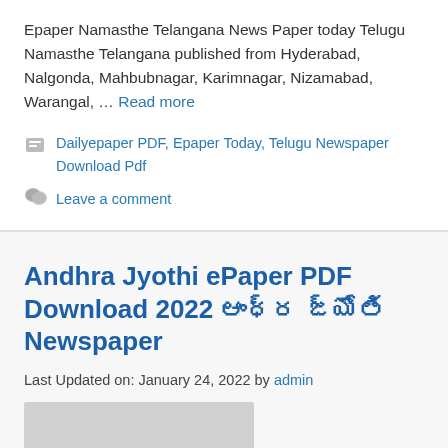Epaper Namasthe Telangana News Paper today Telugu Namasthe Telangana published from Hyderabad, Nalgonda, Mahbubnagar, Karimnagar, Nizamabad, Warangal, … Read more
Dailyepaper PDF, Epaper Today, Telugu Newspaper Download Pdf
Leave a comment
Andhra Jyothi ePaper PDF Download 2022 ఆంధ్ర జ్యోతి Newspaper
Last Updated on: January 24, 2022 by admin
[Figure (photo): Partially visible grey thumbnail image at the bottom of the page]